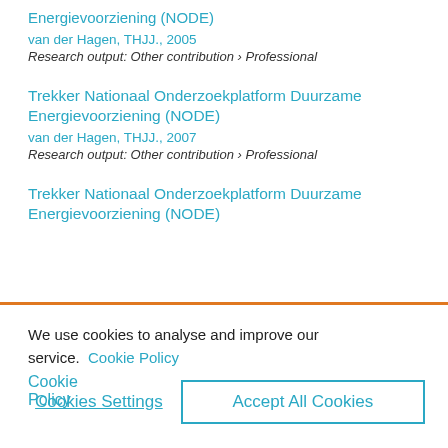Energievoorziening (NODE)
van der Hagen, THJJ., 2005
Research output: Other contribution › Professional
Trekker Nationaal Onderzoekplatform Duurzame Energievoorziening (NODE)
van der Hagen, THJJ., 2007
Research output: Other contribution › Professional
Trekker Nationaal Onderzoekplatform Duurzame Energievoorziening (NODE)
We use cookies to analyse and improve our service. Cookie Policy
Cookies Settings
Accept All Cookies